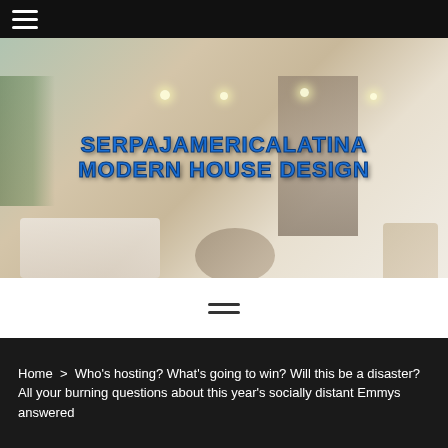≡ (hamburger menu icon)
[Figure (photo): Modern luxury living room interior with large windows, natural light, contemporary furniture including white sofa, round coffee table, and armchair. Overlaid text reads 'SERPAJAMERICALATINA MODERN HOUSE DESIGN' in bold blue letters.]
SERPAJAMERICALATINA MODERN HOUSE DESIGN
[Figure (other): Horizontal menu/hamburger icon with two horizontal lines centered on white background]
Home > Who's hosting? What's going to win? Will this be a disaster? All your burning questions about this year's socially distant Emmys answered